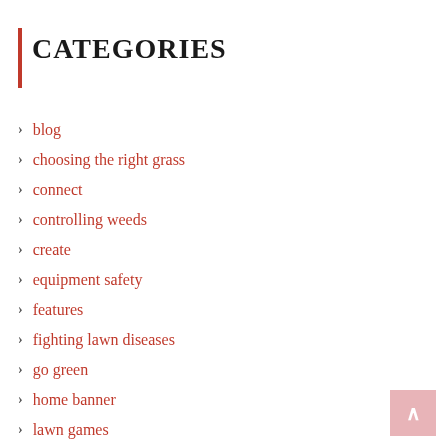CATEGORIES
blog
choosing the right grass
connect
controlling weeds
create
equipment safety
features
fighting lawn diseases
go green
home banner
lawn games
lawn masters
lawn pride